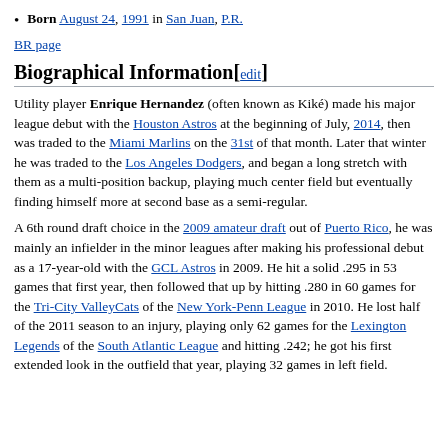Born August 24, 1991 in San Juan, P.R.
BR page
Biographical Information[edit]
Utility player Enrique Hernandez (often known as Kiké) made his major league debut with the Houston Astros at the beginning of July, 2014, then was traded to the Miami Marlins on the 31st of that month. Later that winter he was traded to the Los Angeles Dodgers, and began a long stretch with them as a multi-position backup, playing much center field but eventually finding himself more at second base as a semi-regular.
A 6th round draft choice in the 2009 amateur draft out of Puerto Rico, he was mainly an infielder in the minor leagues after making his professional debut as a 17-year-old with the GCL Astros in 2009. He hit a solid .295 in 53 games that first year, then followed that up by hitting .280 in 60 games for the Tri-City ValleyCats of the New York-Penn League in 2010. He lost half of the 2011 season to an injury, playing only 62 games for the Lexington Legends of the South Atlantic League and hitting .242; he got his first extended look in the outfield that year, playing 32 games in left field.